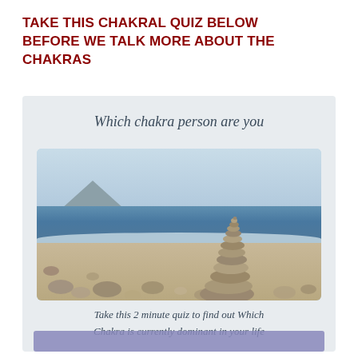TAKE THIS CHAKRAL QUIZ BELOW BEFORE WE TALK MORE ABOUT THE CHAKRAS
[Figure (illustration): A card-style promotional graphic with a light grey-blue background. At the top: 'Which chakra person are you' in serif italic text. Below is a photograph of a zen stone stack (cairn) on a pebble beach with ocean and sky in the background. Below the photo: 'Take this 2 minute quiz to find out Which Chakra is currently dominant in your life'. At the bottom edge, a partial purple/lavender button strip is visible.]